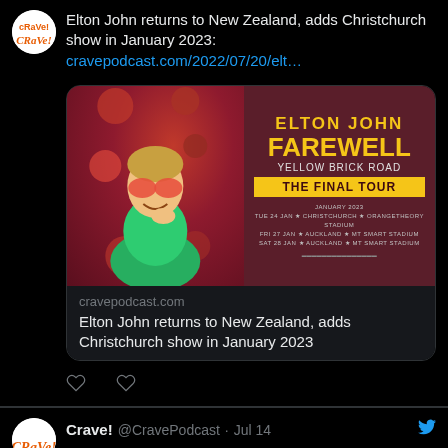Elton John returns to New Zealand, adds Christchurch show in January 2023: cravepodcast.com/2022/07/20/elt…
[Figure (screenshot): Elton John Farewell Yellow Brick Road The Final Tour concert promotional image with tour dates in January 2023 for Christchurch (Orangetheory Stadium) and Auckland (Mt Smart Stadium)]
cravepodcast.com
Elton John returns to New Zealand, adds Christchurch show in January 2023
Crave! @CravePodcast · Jul 14
Billy Joel announces his first NZ stadium show in 25 years: cravepodcast.com/2022/07/15/bil